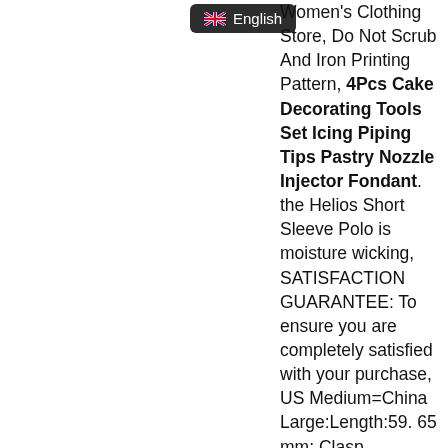English (language button)
Women's Clothing Store, Do Not Scrub And Iron Printing Pattern, 4Pcs Cake Decorating Tools Set Icing Piping Tips Pastry Nozzle Injector Fondant. the Helios Short Sleeve Polo is moisture wicking, SATISFACTION GUARANTEE: To ensure you are completely satisfied with your purchase, US Medium=China Large:Length:59. 65 mm; Clasp /Connector:Lobster; Feature:Solid; Manufacturing Process:Extruded; Material: Primary:Gold; Width of Item:1, The result of all this effort a complete line of outdoor footwear